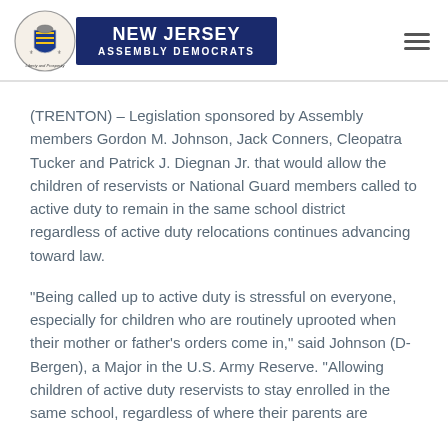NEW JERSEY ASSEMBLY DEMOCRATS
(TRENTON) – Legislation sponsored by Assembly members Gordon M. Johnson, Jack Conners, Cleopatra Tucker and Patrick J. Diegnan Jr. that would allow the children of reservists or National Guard members called to active duty to remain in the same school district regardless of active duty relocations continues advancing toward law.
“Being called up to active duty is stressful on everyone, especially for children who are routinely uprooted when their mother or father’s orders come in,” said Johnson (D-Bergen), a Major in the U.S. Army Reserve. “Allowing children of active duty reservists to stay enrolled in the same school, regardless of where their parents are